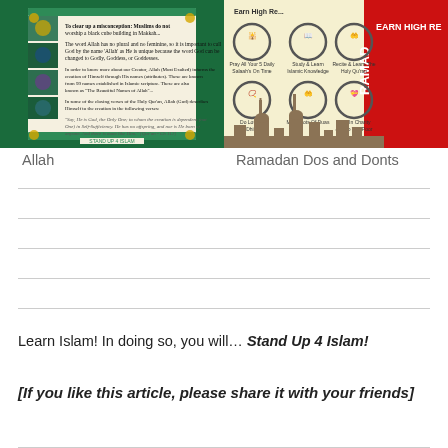[Figure (illustration): Book cover featuring Islamic text and green decorative design with the word Allah]
[Figure (infographic): Ramadan Dos and Donts infographic with mosque skyline and circular icons for good deeds]
Allah
Ramadan Dos and Donts
Learn Islam! In doing so, you will… Stand Up 4 Islam!
[If you like this article, please share it with your friends]